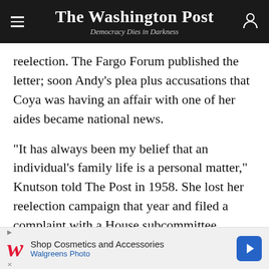The Washington Post — Democracy Dies in Darkness
reelection. The Fargo Forum published the letter; soon Andy's plea plus accusations that Coya was having an affair with one of her aides became national news.
“It has always been my belief that an individual’s family life is a personal matter,” Knutson told The Post in 1958. She lost her reelection campaign that year and filed a complaint with a House subcommittee, arguing that she had been the victim of a “malicious conspiracy” involving her husband, the DFL and her opponent’s associates. The committee agreed that her personal life had been exploited and probably
[Figure (other): Walgreens Photo advertisement banner: 'Shop Cosmetics and Accessories, Walgreens Photo']